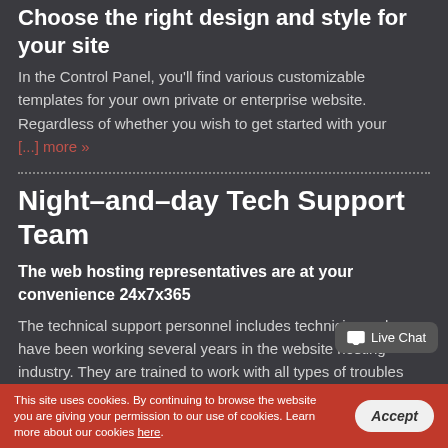Choose the right design and style for your site
In the Control Panel, you'll find various customizable templates for your own private or enterprise website. Regardless of whether you wish to get started with your [...] more »
Night–and–day Tech Support Team
The web hosting representatives are at your convenience 24x7x365
The technical support personnel includes technicians who have been working several years in the website hosting industry. They are trained to work with all types of troubles
This site uses cookies. By continuing to browse the website you are giving your permission to our use of cookies. Learn more about our cookies here.